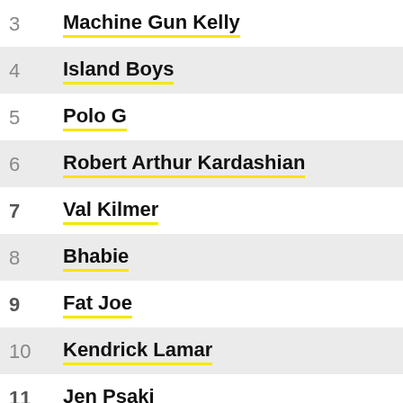3 Machine Gun Kelly
4 Island Boys
5 Polo G
6 Robert Arthur Kardashian
7 Val Kilmer
8 Bhabie
9 Fat Joe
10 Kendrick Lamar
11 Jen Psaki
12 Kevin Samuels
13 Anna Delvey
14 Dapping (partial)